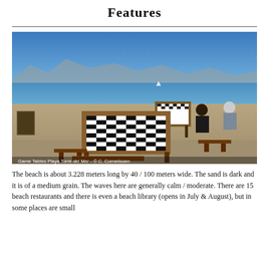Features
[Figure (photo): Outdoor chess/game tables on Playa Torre del Mar beach with sand, blue sea, mountains in background, and two people playing at a table. Caption: Game Tables Playa Torre del Mar - © C. Cornelissen]
The beach is about 3.228 meters long by 40 / 100 meters wide. The sand is dark and it is of a medium grain. The waves here are generally calm / moderate. There are 15 beach restaurants and there is even a beach library (opens in July & August), but in some places are small